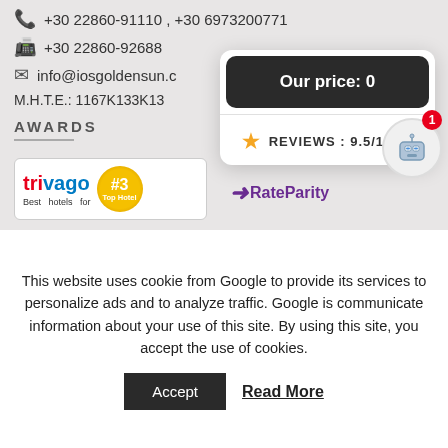+30 22860-91110 , +30 6973200771
+30 22860-92688
info@iosgoldensun.c…
M.H.T.E.: 1167K133K13…
AWARDS
[Figure (screenshot): Our price: 0 button card with REVIEWS: 9.5/10 star rating]
[Figure (logo): RateParity logo]
[Figure (logo): Trivago #3 Top Hotel badge]
[Figure (illustration): Chatbot circle icon with red badge showing 1]
This website uses cookie from Google to provide its services to personalize ads and to analyze traffic. Google is communicate information about your use of this site. By using this site, you accept the use of cookies.
Accept  Read More